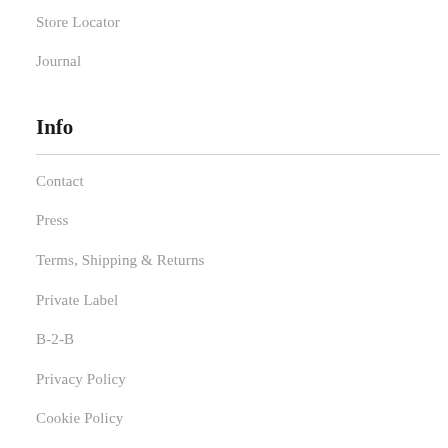Store Locator
Journal
Info
Contact
Press
Terms, Shipping & Returns
Private Label
B-2-B
Privacy Policy
Cookie Policy